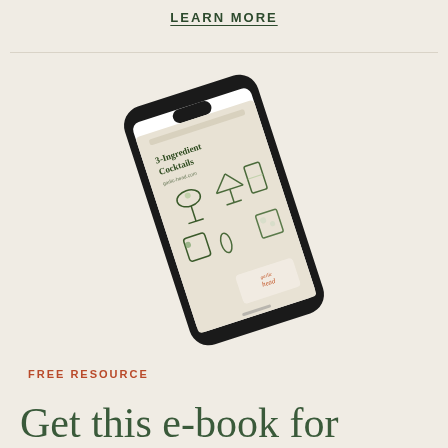LEARN MORE
[Figure (photo): A smartphone displayed at an angle showing an e-book cover titled '3-Ingredient Cocktails' with cocktail glass illustrations and 'garlic head' branding, on a beige background]
FREE RESOURCE
Get this e-book for